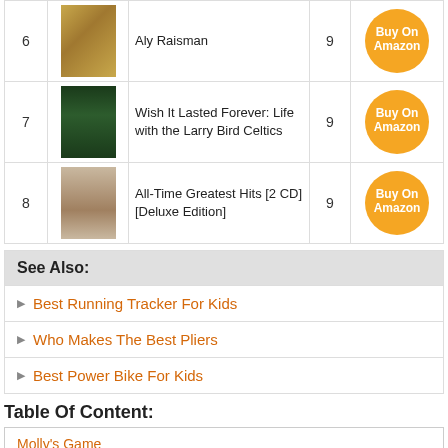| # | Image | Title | Score | Buy |
| --- | --- | --- | --- | --- |
| 6 |  | Aly Raisman | 9 | Buy On Amazon |
| 7 |  | Wish It Lasted Forever: Life with the Larry Bird Celtics | 9 | Buy On Amazon |
| 8 |  | All-Time Greatest Hits [2 CD][Deluxe Edition] | 9 | Buy On Amazon |
See Also:
Best Running Tracker For Kids
Who Makes The Best Pliers
Best Power Bike For Kids
Table Of Content:
Molly's Game
Instant HEPA Air Purifier For Home Allergies Pets Hair,
NEOPlex Cigars With Cigar Graphics Swooper Flag